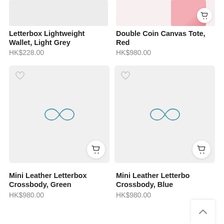[Figure (photo): Cropped top of product image - Letterbox Lightweight Wallet, Light Grey on light grey background]
[Figure (photo): Cropped top of product image - Double Coin Canvas Tote, Red showing pink/red item on light background with cart button]
Letterbox Lightweight Wallet, Light Grey
HK$228.00
Double Coin Canvas Tote, Red
HK$980.00
[Figure (screenshot): Product image placeholder with loading spinner (infinity symbol) for Mini Leather Letterbox Crossbody, Green]
[Figure (screenshot): Product image placeholder with loading spinner (infinity symbol) for Mini Leather Letterbox Crossbody, Blue]
Mini Leather Letterbox Crossbody, Green
HK$980.00
Mini Leather Letterbox Crossbody, Blue
HK$980.00